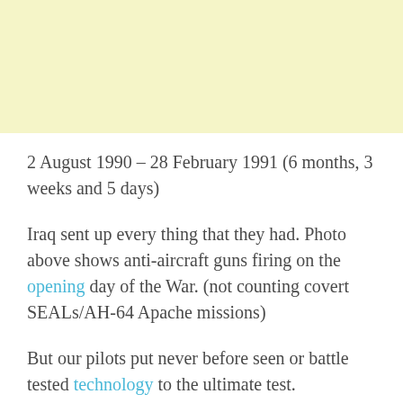[Figure (photo): Yellow/cream colored rectangle at the top of the page, representing a photo placeholder area.]
2 August 1990 – 28 February 1991 (6 months, 3 weeks and 5 days)
Iraq sent up every thing that they had. Photo above shows anti-aircraft guns firing on the opening day of the War. (not counting covert SEALs/AH-64 Apache missions)
But our pilots put never before seen or battle tested technology to the ultimate test.